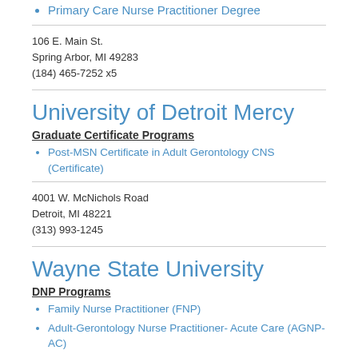Primary Care Nurse Practitioner Degree
106 E. Main St.
Spring Arbor, MI 49283
(184) 465-7252 x5
University of Detroit Mercy
Graduate Certificate Programs
Post-MSN Certificate in Adult Gerontology CNS (Certificate)
4001 W. McNichols Road
Detroit, MI 48221
(313) 993-1245
Wayne State University
DNP Programs
Family Nurse Practitioner (FNP)
Adult-Gerontology Nurse Practitioner- Acute Care (AGNP-AC)